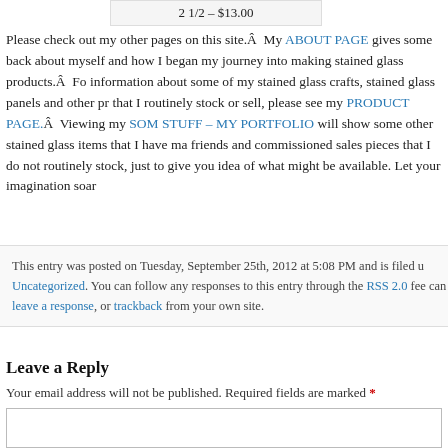2 1/2 – $13.00
Please check out my other pages on this site.Â  My ABOUT PAGE gives some back about myself and how I began my journey into making stained glass products.Â  Fo information about some of my stained glass crafts, stained glass panels and other pr that I routinely stock or sell, please see my PRODUCT PAGE.Â  Viewing my SOME STUFF – MY PORTFOLIO will show some other stained glass items that I have ma friends and commissioned sales pieces that I do not routinely stock, just to give you idea of what might be available. Let your imagination soar
This entry was posted on Tuesday, September 25th, 2012 at 5:08 PM and is filed u Uncategorized. You can follow any responses to this entry through the RSS 2.0 fee can leave a response, or trackback from your own site.
Leave a Reply
Your email address will not be published. Required fields are marked *